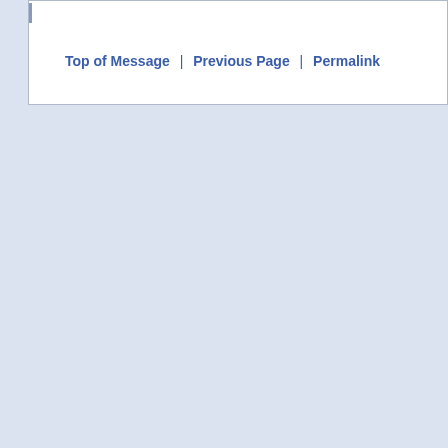Top of Message | Previous Page | Permalink